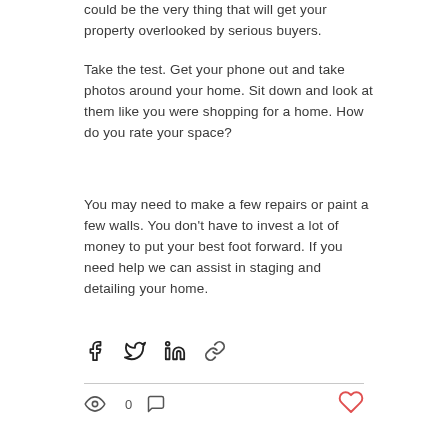could be the very thing that will get your property overlooked by serious buyers.
Take the test. Get your phone out and take photos around your home. Sit down and look at them like you were shopping for a home. How do you rate your space?
You may need to make a few repairs or paint a few walls. You don't have to invest a lot of money to put your best foot forward. If you need help we can assist in staging and detailing your home.
[Figure (other): Social share buttons: Facebook, Twitter, LinkedIn, link/chain icon]
[Figure (other): Post meta bar: eye/views icon with count 0, comment icon, heart/like button in red]